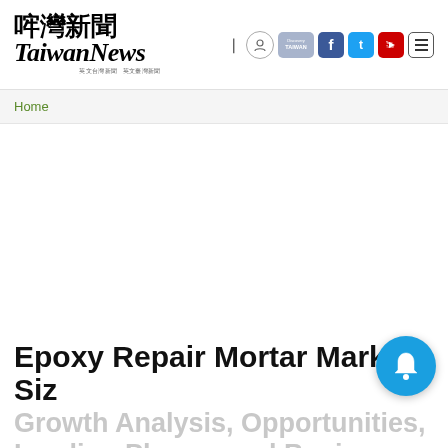Taiwan News — header with logo and navigation icons
Home
Epoxy Repair Mortar Market Siz
Growth Analysis, Opportunities, Leading Players and Business Outlook